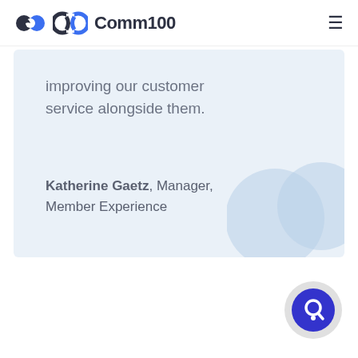Comm100
improving our customer service alongside them.
Katherine Gaetz, Manager, Member Experience
[Figure (illustration): Chat widget button with blue circle and chat icon, on a light grey circular background]
[Figure (illustration): Large decorative light-blue quotation mark circles in the bottom-right of the testimonial card]